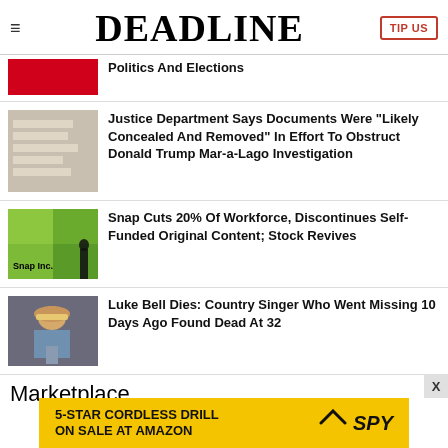DEADLINE
Justice Department Says Documents Were "Likely Concealed And Removed" In Effort To Obstruct Donald Trump Mar-a-Lago Investigation
Snap Cuts 20% Of Workforce, Discontinues Self-Funded Original Content; Stock Revives
Luke Bell Dies: Country Singer Who Went Missing 10 Days Ago Found Dead At 32
Marketplace